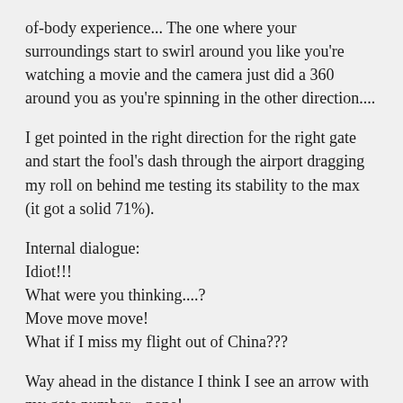of-body experience... The one where your surroundings start to swirl around you like you're watching a movie and the camera just did a 360 around you as you're spinning in the other direction....
I get pointed in the right direction for the right gate and start the fool's dash through the airport dragging my roll on behind me testing its stability to the max (it got a solid 71%).
Internal dialogue:
Idiot!!!
What were you thinking....?
Move move move!
What if I miss my flight out of China???
Way ahead in the distance I think I see an arrow with my gate number... nope!
"KEEP GOING!!!" I thought to myself. I didn't say these words, but I knew I would not stop running until I was at the right gate, even if I missed my flight...